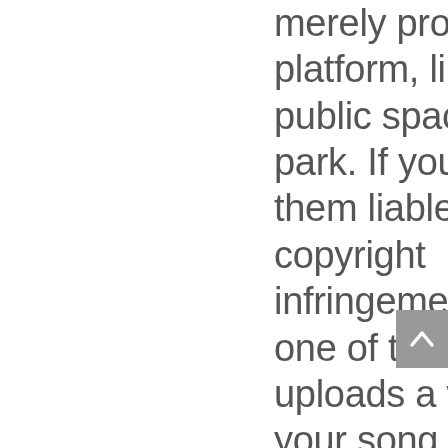merely provide a platform, like a public space or a park. If you hold them liable for copyright infringement when one of their users uploads a video with your song in it, you're essentially saying that if people in a park are engaging in criminal activity, whoever owns the park